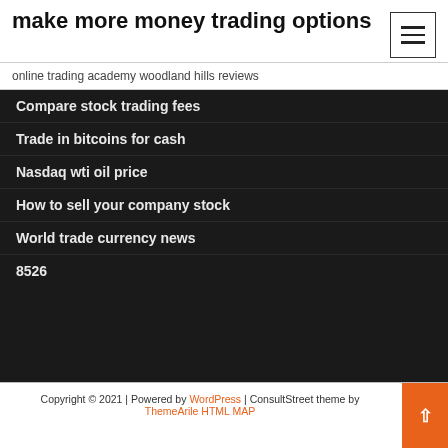make more money trading options
online trading academy woodland hills reviews
Compare stock trading fees
Trade in bitcoins for cash
Nasdaq wti oil price
How to sell your company stock
World trade currency news
8526
Copyright © 2021 | Powered by WordPress | ConsultStreet theme by ThemeArile HTML MAP